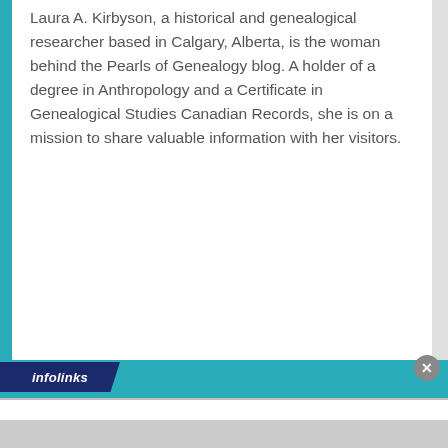Laura A. Kirbyson, a historical and genealogical researcher based in Calgary, Alberta, is the woman behind the Pearls of Genealogy blog. A holder of a degree in Anthropology and a Certificate in Genealogical Studies Canadian Records, she is on a mission to share valuable information with her visitors.
[Figure (screenshot): Infolinks advertisement banner with dark blue badge showing 'infolinks' logo and a close button (x) on the right.]